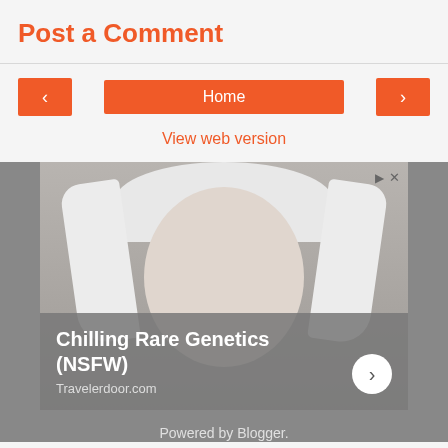Post a Comment
< | Home | >
View web version
[Figure (photo): Advertisement showing a close-up photo of a young person with albinism (white hair, heterochromia eyes) with overlaid text 'Chilling Rare Genetics (NSFW)' and source 'Travelerdoor.com']
Powered by Blogger.